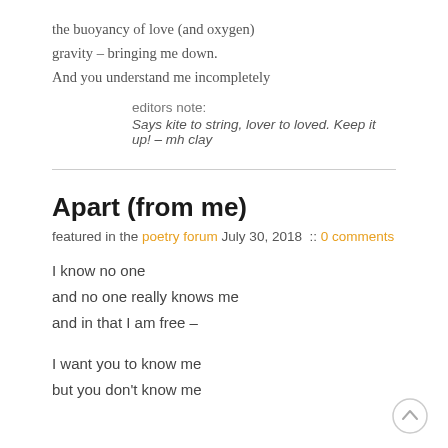the buoyancy of love (and oxygen)
gravity – bringing me down.
And you understand me incompletely
editors note:
Says kite to string, lover to loved. Keep it up! – mh clay
Apart (from me)
featured in the poetry forum July 30, 2018  :: 0 comments
I know no one
and no one really knows me
and in that I am free –
I want you to know me
but you don't know me